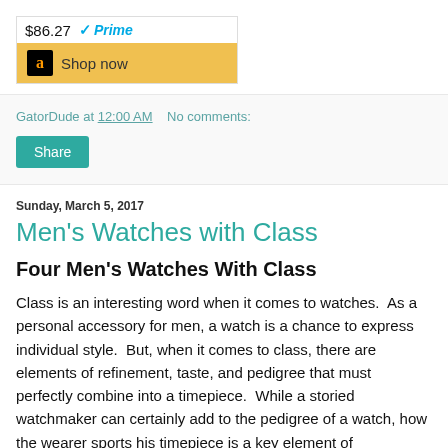[Figure (screenshot): Amazon product widget showing price $86.27 with Prime logo and Shop now button]
GatorDude at 12:00 AM   No comments:
Share
Sunday, March 5, 2017
Men's Watches with Class
Four Men's Watches With Class
Class is an interesting word when it comes to watches.  As a personal accessory for men, a watch is a chance to express individual style.  But, when it comes to class, there are elements of refinement, taste, and pedigree that must perfectly combine into a timepiece.  While a storied watchmaker can certainly add to the pedigree of a watch, how the wearer sports his timepiece is a key element of